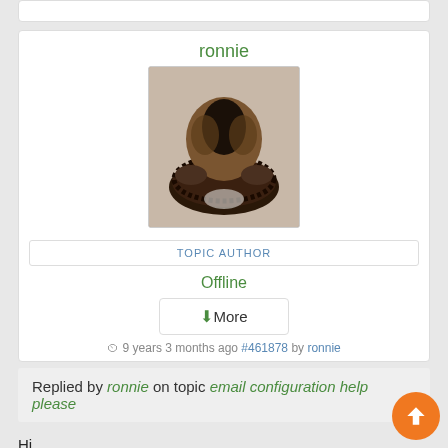[Figure (photo): User avatar showing a small furry animal curled up in what appears to be a moccasin or slipper shoe, viewed from above]
TOPIC AUTHOR
Offline
⬇More
9 years 3 months ago #461878 by ronnie
Replied by ronnie on topic email configuration help please
Hi,